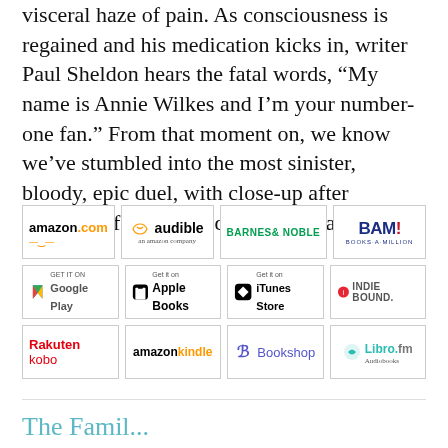visceral haze of pain. As consciousness is regained and his medication kicks in, writer Paul Sheldon hears the fatal words, “My name is Annie Wilkes and I’m your number-one fan.” From that moment on, we know we’ve stumbled into the most sinister, bloody, epic duel, with close-up after close-up of our bruised and desperate pair.
[Figure (logo): Grid of 12 retailer logos: amazon.com, audible, Barnes & Noble, BAM! Books-A-Million, Google Play, Apple Books, iTunes Store, IndieBound, Rakuten kobo, amazon kindle, Bookshop, Libro.fm Audiobooks]
The Famil...